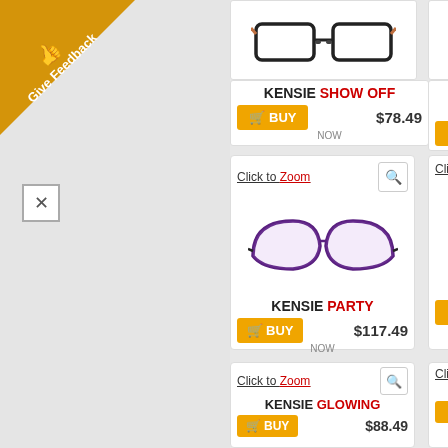[Figure (other): Give Feedback ribbon with thumbs up icon in top-left corner]
[Figure (other): Close/X button]
[Figure (photo): Kensie Show Off eyeglasses - rectangular black frames with brown temples]
KENSIE SHOW OFF
BUY $78.49 NOW
[Figure (photo): Kensie ME M... AND M... sunglasses - partial view, dark frames]
KENSIE ME M... AND M...
BUY
Click to Zoom
[Figure (photo): Kensie Party eyeglasses - purple/dark two-tone cat-eye frames]
KENSIE PARTY
BUY $117.49 NOW
Click to Zoom
[Figure (photo): Kensie PE... eyeglasses - partially visible]
KENSIE PE...
BUY
Click to Zoom
[Figure (photo): Kensie Glowing eyeglasses - product image area (blank/loading)]
KENSIE GLOWING
BUY $88.49
Click to Zoom
[Figure (photo): Kensie CHAM... eyeglasses - partially visible]
KENSIE CHAM...
BUY